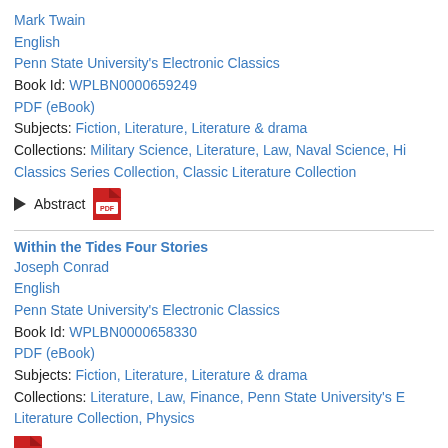Mark Twain
English
Penn State University's Electronic Classics
Book Id: WPLBN0000659249
PDF (eBook)
Subjects: Fiction, Literature, Literature & drama
Collections: Military Science, Literature, Law, Naval Science, Hi Classics Series Collection, Classic Literature Collection
Abstract
Within the Tides Four Stories
Joseph Conrad
English
Penn State University's Electronic Classics
Book Id: WPLBN0000658330
PDF (eBook)
Subjects: Fiction, Literature, Literature & drama
Collections: Literature, Law, Finance, Penn State University's E Literature Collection, Physics